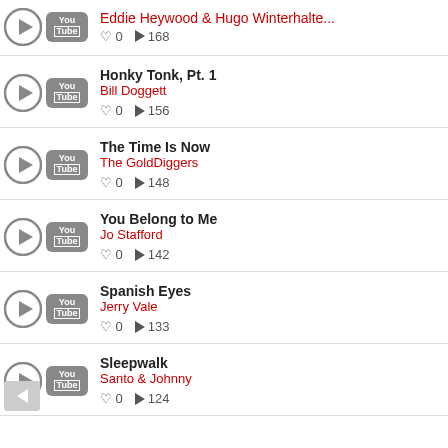Eddie Heywood & Hugo Winterhalte... | 0 likes | 168 plays
Honky Tonk, Pt. 1 | Bill Doggett | 0 likes | 156 plays
The Time Is Now | The GoldDiggers | 0 likes | 148 plays
You Belong to Me | Jo Stafford | 0 likes | 142 plays
Spanish Eyes | Jerry Vale | 0 likes | 133 plays
Sleepwalk | Santo & Johnny | 0 likes | 124 plays